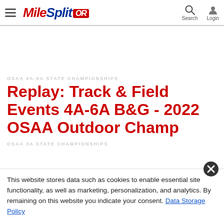MileSplit OR — Search, Login
Replay: Track & Field Events 4A-6A B&G - 2022 OSAA Outdoor Champ
OSAA 3A STATE CHAMPIONSHIPS
This website stores data such as cookies to enable essential site functionality, as well as marketing, personalization, and analytics. By remaining on this website you indicate your consent. Data Storage Policy